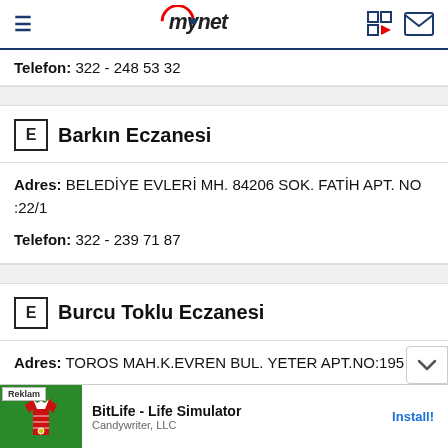mynet
Telefon: 322 - 248 53 32
E  Barkın Eczanesi
Adres: BELEDİYE EVLERİ MH. 84206 SOK. FATİH APT. NO :22/1
Telefon: 322 - 239 71 87
E  Burcu Toklu Eczanesi
Adres: TOROS MAH.K.EVREN BUL. YETER APT.NO:195
[Figure (screenshot): Ad banner for BitLife - Life Simulator by Candywriter, LLC with Install button]